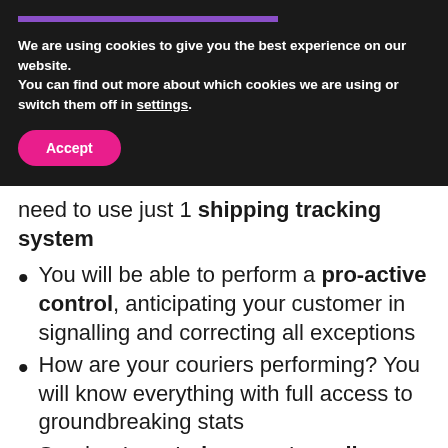We are using cookies to give you the best experience on our website.
You can find out more about which cookies we are using or switch them off in settings.
Accept
need to use just 1 shipping tracking system
You will be able to perform a pro-active control, anticipating your customer in signalling and correcting all exceptions
How are your couriers performing? You will know everything with full access to groundbreaking stats
Send automated support emails